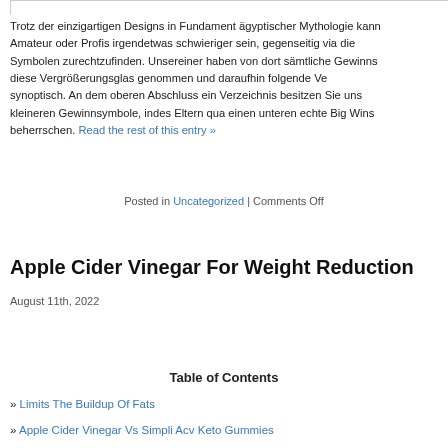Trotz der einzigartigen Designs in Fundament ägyptischer Mythologie kann Amateur oder Profis irgendetwas schwieriger sein, gegenseitig via die Symbolen zurechtzufinden. Unsereiner haben von dort sämtliche Gewinnsymbole diese Vergrößerungsglas genommen und daraufhin folgende Ve synoptisch. An dem oberen Abschluss ein Verzeichnis besitzen Sie uns kleineren Gewinnsymbole, indes Eltern qua einen unteren echte Big Wins beherrschen. Read the rest of this entry »
Posted in Uncategorized | Comments Off
Apple Cider Vinegar For Weight Reduction
August 11th, 2022
Table of Contents
» Limits The Buildup Of Fats
» Apple Cider Vinegar Vs Simpli Acv Keto Gummies